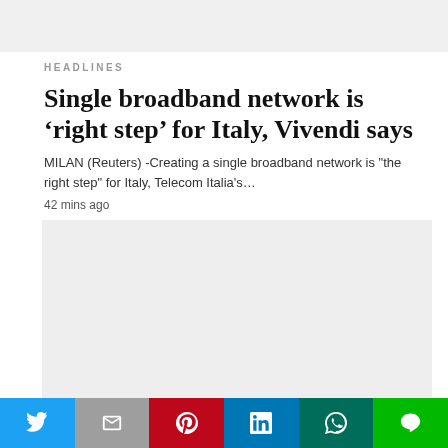HEADLINES
Single broadband network is ‘right step’ for Italy, Vivendi says
MILAN (Reuters) -Creating a single broadband network is "the right step" for Italy, Telecom Italia’s…
42 mins ago
[Figure (other): Gray placeholder image box]
[Figure (other): Social share bar with Twitter, Gmail, Pinterest, LinkedIn, WhatsApp, and LINE buttons]